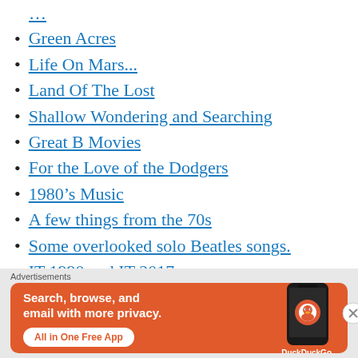Green Acres
Life On Mars...
Land Of The Lost
Shallow Wondering and Searching
Great B Movies
For the Love of the Dodgers
1980’s Music
A few things from the 70s
Some overlooked solo Beatles songs.
IT 1990 and IT 2017
Doctor Who...NOT Miss WHO
Advertisements
[Figure (other): DuckDuckGo advertisement banner: orange background with text 'Search, browse, and email with more privacy. All in One Free App' and a phone image with DuckDuckGo logo.]